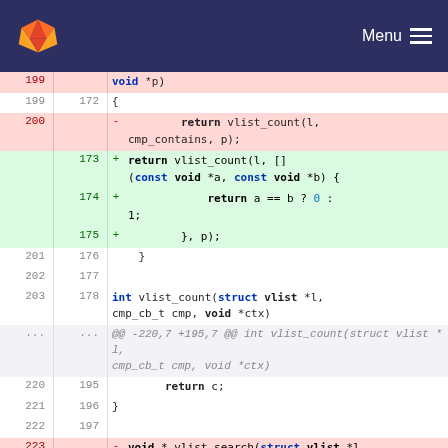GitLab Menu
[Figure (screenshot): Code diff view showing changes to vlist_count and vlist_search functions in a C file. Lines 199-222 showing git diff with removed and added lines.]